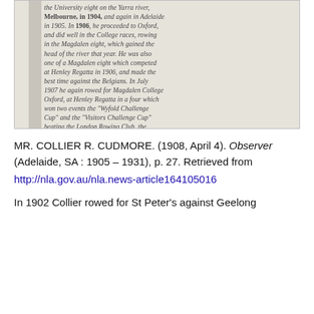[Figure (photo): Scanned newspaper text excerpt in italic/bold serif font discussing rowing at Henley Regatta, Magdalen College Oxford, winning the Wyfold Challenge Cup and Visitors Challenge Cup, beating London Rowing Club, Reading and Kingston rowing clubs, Oxford and Cambridge entries.]
MR. COLLIER R. CUDMORE. (1908, April 4). Observer (Adelaide, SA : 1905 – 1931), p. 27. Retrieved from
http://nla.gov.au/nla.news-article164105016
In 1902 Collier rowed for St Peter's against Geelong